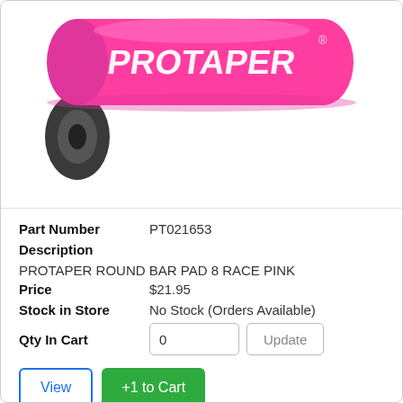[Figure (photo): Pink ProTaper round bar pad product photo on white background]
Part Number    PT021653
Description
PROTAPER ROUND BAR PAD 8 RACE PINK
Price    $21.95
Stock in Store    No Stock (Orders Available)
Qty In Cart    0    Update
View  +1 to Cart
PRO TAPER 8" ROUND BAR PAD PINK